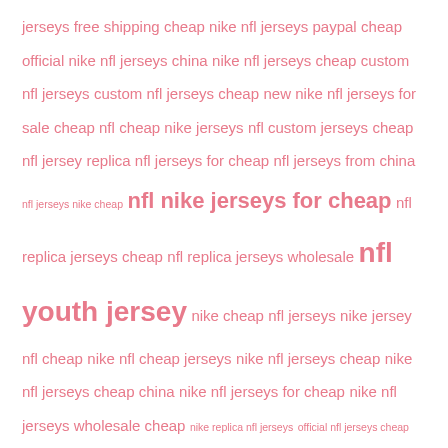jerseys free shipping cheap nike nfl jerseys paypal cheap official nike nfl jerseys china nike nfl jerseys cheap custom nfl jerseys custom nfl jerseys cheap new nike nfl jerseys for sale cheap nfl cheap nike jerseys nfl custom jerseys cheap nfl jersey replica nfl jerseys for cheap nfl jerseys from china nfl jerseys nike cheap nfl nike jerseys for cheap nfl replica jerseys cheap nfl replica jerseys wholesale nfl youth jersey nike cheap nfl jerseys nike jersey nfl cheap nike nfl cheap jerseys nike nfl jerseys cheap nike nfl jerseys cheap china nike nfl jerseys for cheap nike nfl jerseys wholesale cheap nike replica nfl jerseys official nfl jerseys cheap replica nfl jersey replica nfl jerseys
Recent Posts
China Cheap Men Minnesota Twins 25 Byron Buxton 2022 All-Star Nike MLB...